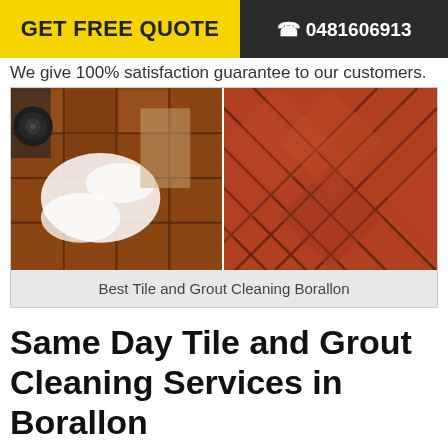GET FREE QUOTE   0481606913
We give 100% satisfaction guarantee to our customers.
[Figure (photo): Before and after comparison of tile and grout cleaning — left side shows dirty tiles with white cleaning agent applied, right side shows clean red quarry tiles in diagonal pattern]
Best Tile and Grout Cleaning Borallon
Same Day Tile and Grout Cleaning Services in Borallon
Peter's tile and grout cleaners works 24 hours and 7 days and are available for the same day tile cleaning, grout cleaning, tiles polishing, tiles recoloring, tiles restoration, high pressure tiles cleaning and tiles